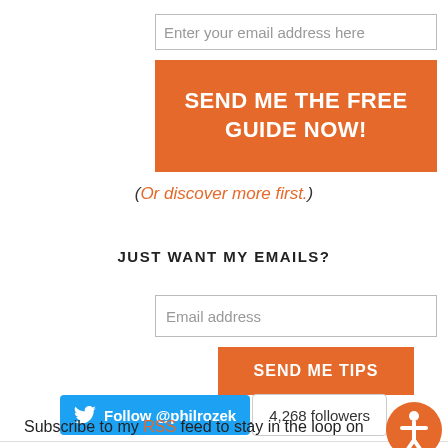Enter your email address here
SEND ME THE FREE GUIDE NOW!
(Or discover more first.)
JUST WANT MY EMAILS?
Email address
SEND ME TIPS
STAY UP-TO-DATE
[Figure (other): Twitter Follow button showing Follow @philrozek with 4,268 followers]
Subscribe to my RSS feed to stay in the loop on